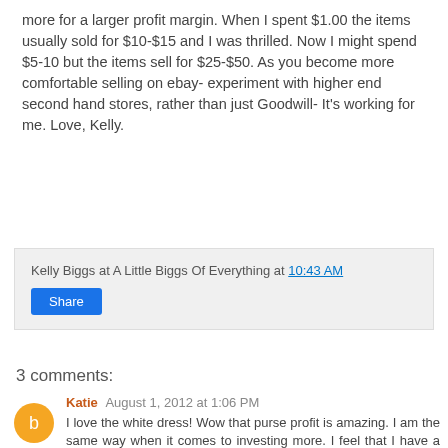more for a larger profit margin. When I spent $1.00 the items usually sold for $10-$15 and I was thrilled. Now I might spend $5-10 but the items sell for $25-$50. As you become more comfortable selling on ebay- experiment with higher end second hand stores, rather than just Goodwill- It's working for me. Love, Kelly.
Kelly Biggs at A Little Biggs Of Everything at 10:43 AM
Share
3 comments:
Katie August 1, 2012 at 1:06 PM
I love the white dress! Wow that purse profit is amazing. I am the same way when it comes to investing more. I feel that I have a rhythm going and am more comfortable paying more. Do you think now is a good time to start listing Fall Back to School clothing?
Reply